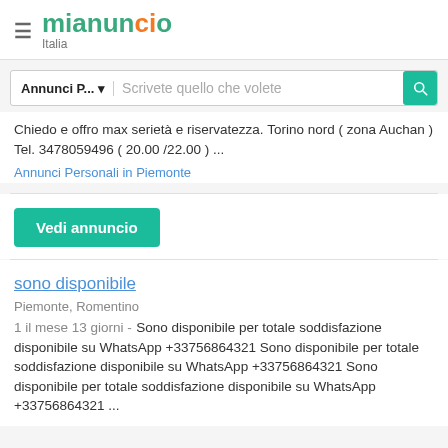mianuncio Italia
Annunci P... Scrivete quello che volete
Chiedo e offro max serietà e riservatezza. Torino nord ( zona Auchan ) Tel. 3478059496 ( 20.00 /22.00 ) ...
Annunci Personali in Piemonte
Vedi annuncio
sono disponibile
Piemonte, Romentino
1 il mese 13 giorni - Sono disponibile per totale soddisfazione disponibile su WhatsApp +33756864321 Sono disponibile per totale soddisfazione disponibile su WhatsApp +33756864321 Sono disponibile per totale soddisfazione disponibile su WhatsApp +33756864321 ...